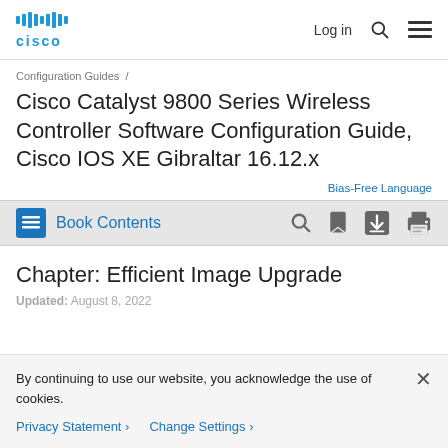Cisco [logo] | Log in [search icon] [menu icon]
Configuration Guides /
Cisco Catalyst 9800 Series Wireless Controller Software Configuration Guide, Cisco IOS XE Gibraltar 16.12.x
Bias-Free Language
Book Contents
Chapter: Efficient Image Upgrade
Updated: August 8, 2022
By continuing to use our website, you acknowledge the use of cookies.
Privacy Statement > Change Settings >